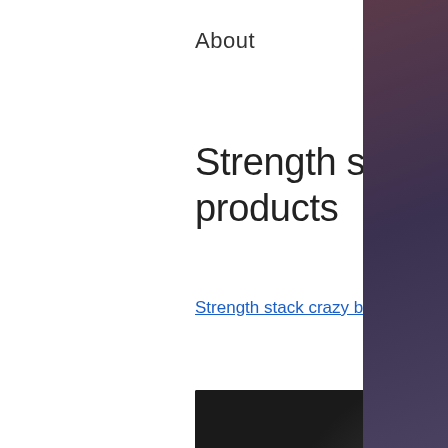About
Strength stack crazy bulk, crazy bulk all products
Strength stack crazy bulk, crazy bulk all products - Buy legal anabolic steroids
[Figure (photo): Dark blurred image showing a muscular figure silhouette with three product supplement containers arranged at the bottom, featuring blue and teal colored packaging]